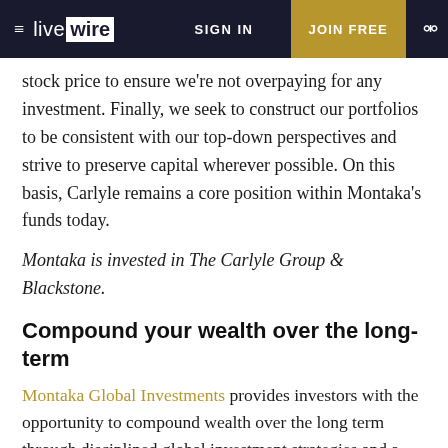livewire | SIGN IN | JOIN FREE
stock price to ensure we're not overpaying for any investment. Finally, we seek to construct our portfolios to be consistent with our top-down perspectives and strive to preserve capital wherever possible. On this basis, Carlyle remains a core position within Montaka's funds today.
Montaka is invested in The Carlyle Group & Blackstone.
Compound your wealth over the long-term
Montaka Global Investments provides investors with the opportunity to compound wealth over the long term through disciplined global investment strategies and a sophisticated approach to risk management.